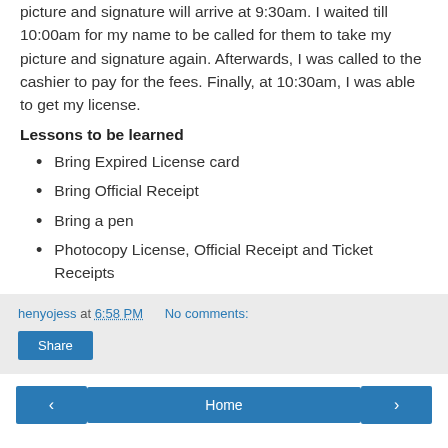picture and signature will arrive at 9:30am. I waited till 10:00am for my name to be called for them to take my picture and signature again. Afterwards, I was called to the cashier to pay for the fees. Finally, at 10:30am, I was able to get my license.
Lessons to be learned
Bring Expired License card
Bring Official Receipt
Bring a pen
Photocopy License, Official Receipt and Ticket Receipts
henyojess at 6:58 PM    No comments:
Share
Home